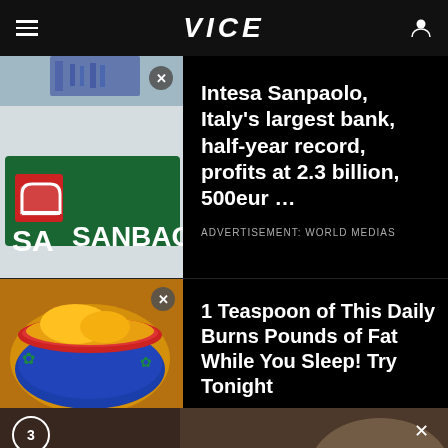VICE
[Figure (screenshot): Intesa Sanpaolo bank sign photo with green logo]
Intesa Sanpaolo, Italy's largest bank, half-year record, profits at 2.3 billion, 500eur ...
ADVERTISEMENT: WORLD MEDIAS
[Figure (photo): Yellow turmeric spice powder in a colorful Mexican-style bowl]
1 Teaspoon of This Daily Burns Pounds of Fat While You Sleep! Try Tonight
[Figure (screenshot): Video overlay with blurred cooking scene and Accept more forms text]
Accept more forms